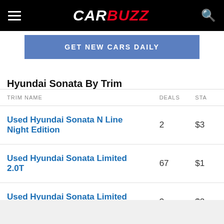CARBUZZ
[Figure (infographic): GET NEW CARS DAILY blue banner button]
Hyundai Sonata By Trim
| TRIM NAME | DEALS | STA... |
| --- | --- | --- |
| Used Hyundai Sonata N Line Night Edition | 2 | $3... |
| Used Hyundai Sonata Limited 2.0T | 67 | $1... |
| Used Hyundai Sonata Limited Plus 2.0T | 3 | $2... |
| Used Hyundai Sonata SEL | 147 | $1... |